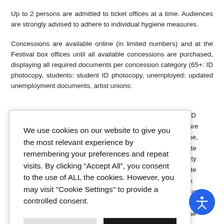Up to 2 persons are admitted to ticket offices at a time. Audiences are strongly advised to adhere to individual hygiene measures.
Concessions are available online (in limited numbers) and at the Festival box offices until all available concessions are purchased, displaying all required documents per concession category (65+: ID photocopy, students: student ID photocopy, unemployed: updated unemployment documents, artist unions: hools: school ID Concessions are l on a first-come, d all appropriate ard to the safety on about private ode, the Greek Protection Policy. ed to accept the
We use cookies on our website to give you the most relevant experience by remembering your preferences and repeat visits. By clicking “Accept All”, you consent to the use of ALL the cookies. However, you may visit "Cookie Settings" to provide a controlled consent.